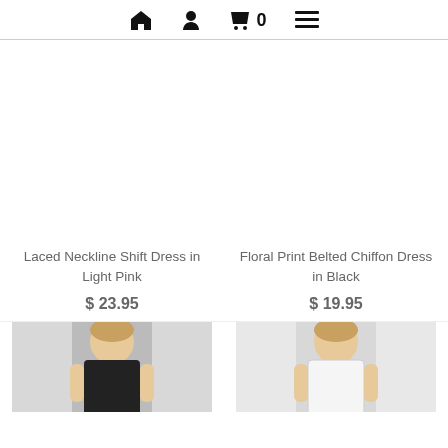🏠 👤 🛒 0 ≡
Laced Neckline Shift Dress in Light Pink
$ 23.95
Floral Print Belted Chiffon Dress in Black
$ 19.95
[Figure (photo): Bottom portion of two dress product photos, left showing a black dress, right showing a white dress]
[Figure (photo): White dress product photo partial view]